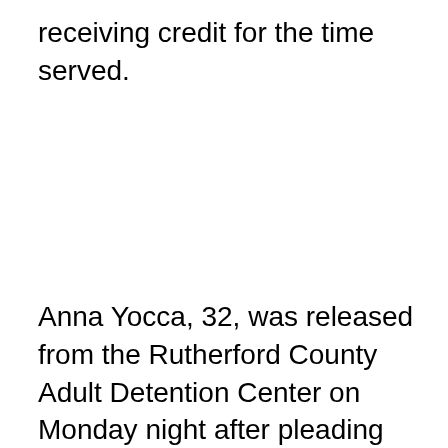receiving credit for the time served.
Anna Yocca, 32, was released from the Rutherford County Adult Detention Center on Monday night after pleading guilty to one count of attempted procurement of a miscarriage. She had been charged as well with attempted criminal abortion and aggravated assault with a weapon.